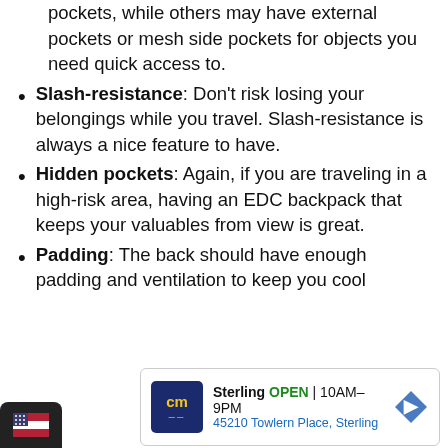storage. Some bags will have more internal pockets, while others may have external pockets or mesh side pockets for objects you need quick access to.
Slash-resistance: Don't risk losing your belongings while you travel. Slash-resistance is always a nice feature to have.
Hidden pockets: Again, if you are traveling in a high-risk area, having an EDC backpack that keeps your valuables from view is great.
Padding: The back should have enough padding and ventilation to keep you cool
[Figure (other): Advertisement box showing a store listing: cm logo, Sterling OPEN 10AM-9PM, 45210 Towlern Place, Sterling, with a navigation arrow icon]